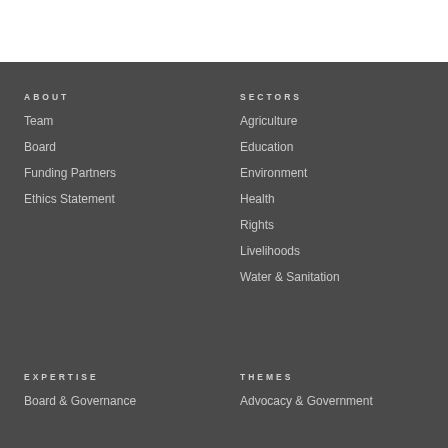ABOUT
Team
Board
Funding Partners
Ethics Statement
SECTORS
Agriculture
Education
Environment
Health
Rights
Livelihoods
Water & Sanitation
EXPERTISE
Board & Governance
THEMES
Advocacy & Government